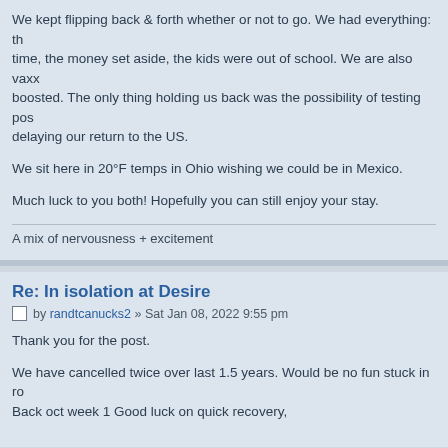We kept flipping back & forth whether or not to go. We had everything: the time, the money set aside, the kids were out of school. We are also vaxx boosted. The only thing holding us back was the possibility of testing pos delaying our return to the US.
We sit here in 20°F temps in Ohio wishing we could be in Mexico.
Much luck to you both! Hopefully you can still enjoy your stay.
A mix of nervousness + excitement
Re: In isolation at Desire
by randtcanucks2 » Sat Jan 08, 2022 9:55 pm
Thank you for the post.
We have cancelled twice over last 1.5 years. Would be no fun stuck in ro Back oct week 1 Good luck on quick recovery,